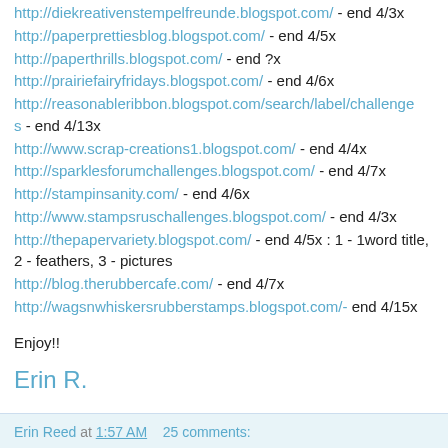http://diekreativenstempelfreunde.blogspot.com/ - end 4/3x
http://paperprettiesblog.blogspot.com/ - end 4/5x
http://paperthrills.blogspot.com/ - end ?x
http://prairiefairyfridays.blogspot.com/ - end 4/6x
http://reasonableribbon.blogspot.com/search/label/challenges - end 4/13x
http://www.scrap-creations1.blogspot.com/ - end 4/4x
http://sparklesforumchallenges.blogspot.com/ - end 4/7x
http://stampinsanity.com/ - end 4/6x
http://www.stampsruschallenges.blogspot.com/ - end 4/3x
http://thepapervariety.blogspot.com/ - end 4/5x : 1 - 1word title, 2 - feathers, 3 - pictures
http://blog.therubbercafe.com/ - end 4/7x
http://wagsnwhiskersrubberstamps.blogspot.com/- end 4/15x
Enjoy!!
Erin R.
Erin Reed at 1:57 AM    25 comments: